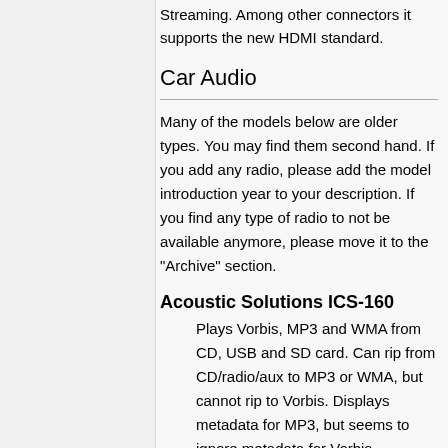Streaming. Among other connectors it supports the new HDMI standard.
Car Audio
Many of the models below are older types. You may find them second hand. If you add any radio, please add the model introduction year to your description. If you find any type of radio to not be available anymore, please move it to the "Archive" section.
Acoustic Solutions ICS-160
Plays Vorbis, MP3 and WMA from CD, USB and SD card. Can rip from CD/radio/aux to MP3 or WMA, but cannot rip to Vorbis. Displays metadata for MP3, but seems to ignore metadata for Vorbis. (Metadata display not tested for